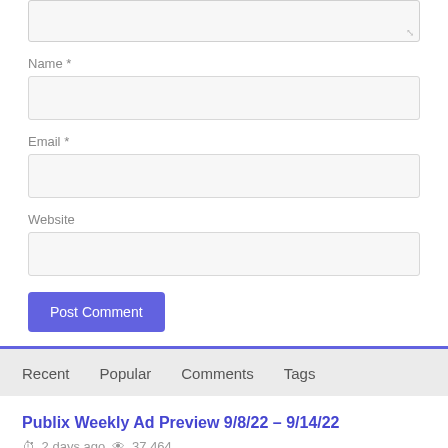[Figure (screenshot): Partial textarea input field (top portion cut off) with resize handle]
Name *
[Figure (screenshot): Name text input field (empty, light gray background)]
Email *
[Figure (screenshot): Email text input field (empty, light gray background)]
Website
[Figure (screenshot): Website text input field (empty, light gray background)]
Post Comment
Recent    Popular    Comments    Tags
Publix Weekly Ad Preview 9/8/22 – 9/14/22
2 days ago  37,464